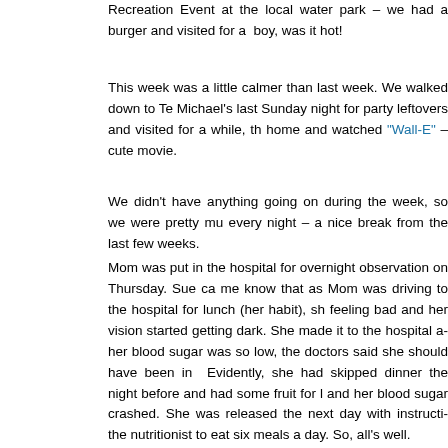Recreation Event at the local water park – we had a burger and visited for a while, boy, was it hot!
This week was a little calmer than last week. We walked down to Te… Michael's last Sunday night for party leftovers and visited for a while, th… home and watched "Wall-E" – cute movie.
We didn't have anything going on during the week, so we were pretty mu… every night – a nice break from the last few weeks.
Mom was put in the hospital for overnight observation on Thursday. Sue ca… me know that as Mom was driving to the hospital for lunch (her habit), sh… feeling bad and her vision started getting dark. She made it to the hospital a… her blood sugar was so low, the doctors said she should have been in … Evidently, she had skipped dinner the night before and had some fruit for l… and her blood sugar crashed. She was released the next day with instructi… the nutritionist to eat six meals a day. So, all's well.
We had a bit of excitement near the Consulate this week. The drug vic… Juarez is on track to surpass the 1800 murders of 2008, despite the pre… 7500-10,000 federal troops in the city. Wednesday, a man was gunned dow… a Denny's restaurant during the lunch hour just a couple of buildings down… Consulate – supposedly one of the safest parts of town. A little too close.
I visited an American citizen in an El Paso hospital on Friday who was a b… wounded during a shoot-out last week. The rest of the work week was f… passport cases, many of them, well, odd. Keeps it interesting!
I've started mentoring a class of local staff once a week – they are takin…